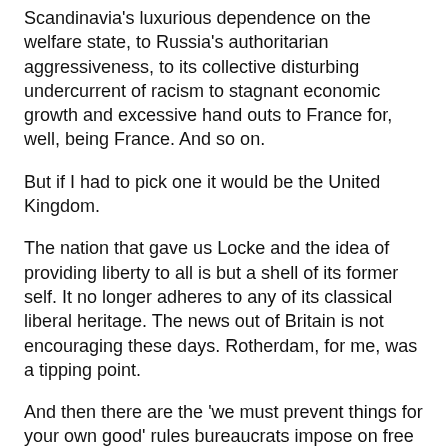Germany's Nazi regime, to Italy's archaic legal system, to Scandinavia's luxurious dependence on the welfare state, to Russia's authoritarian aggressiveness, to its collective disturbing undercurrent of racism to stagnant economic growth and excessive hand outs to France for, well, being France. And so on.
But if I had to pick one it would be the United Kingdom.
The nation that gave us Locke and the idea of providing liberty to all is but a shell of its former self. It no longer adheres to any of its classical liberal heritage. The news out of Britain is not encouraging these days. Rotherdam, for me, was a tipping point.
And then there are the 'we must prevent things for your own good' rules bureaucrats impose on free citizens.
"Brighton and Hove City Council is closing parts of the beach to deter people taking part in the annual dip on December 25.
The decision was made after council officials met with